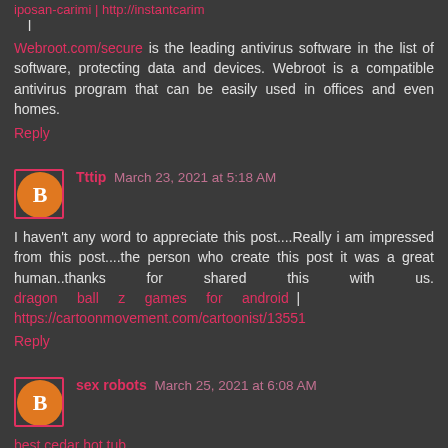| http://instantcarim
l
Webroot.com/secure is the leading antivirus software in the list of software, protecting data and devices. Webroot is a compatible antivirus program that can be easily used in offices and even homes.
Reply
Tttip  March 23, 2021 at 5:18 AM
I haven't any word to appreciate this post....Really i am impressed from this post....the person who create this post it was a great human..thanks for shared this with us. dragon ball z games for android | https://cartoonmovement.com/cartoonist/13551
Reply
sex robots  March 25, 2021 at 6:08 AM
best cedar hot tub